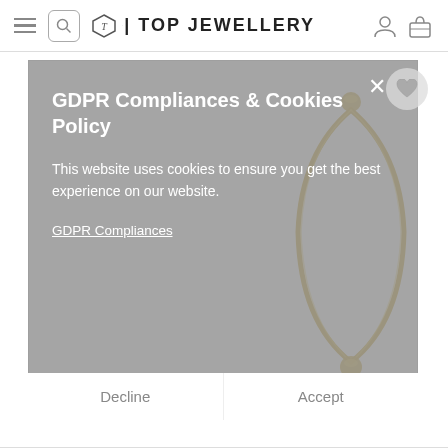TOP JEWELLERY
[Figure (screenshot): Website screenshot showing Top Jewellery website header with hamburger menu, search icon, logo, user icon and shopping bag icon, with a gold bangle bracelet product partially visible, overlaid with a GDPR cookie consent modal dialog]
GDPR Compliances & Cookies Policy
This website uses cookies to ensure you get the best experience on our website.
GDPR Compliances
Decline
Accept